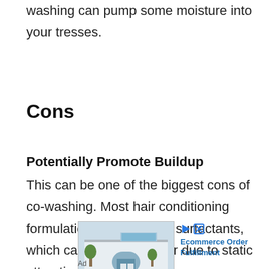washing can pump some moisture into your tresses.
Cons
Potentially Promote Buildup
This can be one of the biggest cons of co-washing. Most hair conditioning formulations use cationic surfactants, which can stick to the hair due to static attraction.
[Figure (other): Advertisement image showing a commercial warehouse building with 'Ecommerce Order Fulfillment' text and play/close icons]
Ad